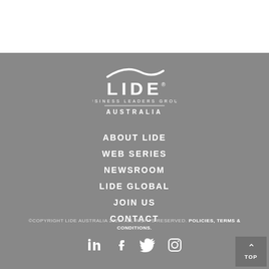[Figure (logo): LIDE Business Leaders Group Australia logo in white on grey background]
ABOUT LIDE
WEB SERIES
NEWSROOM
LIDE GLOBAL
JOIN US
CONTACT
©COPYRIGHT LIDE AUSTRALIA 2020. ALL RIGHTS RESERVED. POLICIES, TERMS & CONDITIONS.
[Figure (infographic): Social media icons: LinkedIn, Facebook, Twitter, Instagram]